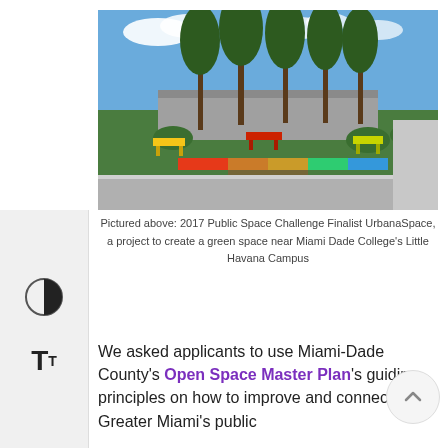[Figure (photo): Aerial view of a colorful public green space with benches, murals, and tall trees near an intersection, part of the UrbanaSpace project near Miami Dade College's Little Havana Campus]
Pictured above: 2017 Public Space Challenge Finalist UrbanaSpace, a project to create a green space near Miami Dade College's Little Havana Campus
We asked applicants to use Miami-Dade County's Open Space Master Plan's guiding principles on how to improve and connect Greater Miami's public